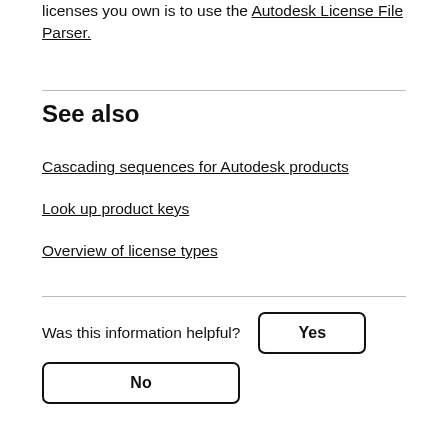licenses you own is to use the Autodesk License File Parser.
See also
Cascading sequences for Autodesk products
Look up product keys
Overview of license types
Was this information helpful?  Yes  No